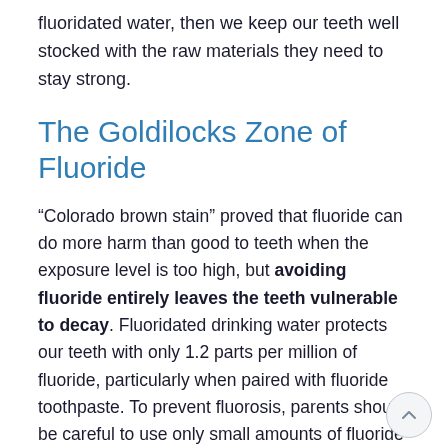fluoridated water, then we keep our teeth well stocked with the raw materials they need to stay strong.
The Goldilocks Zone of Fluoride
“Colorado brown stain” proved that fluoride can do more harm than good to teeth when the exposure level is too high, but avoiding fluoride entirely leaves the teeth vulnerable to decay. Fluoridated drinking water protects our teeth with only 1.2 parts per million of fluoride, particularly when paired with fluoride toothpaste. To prevent fluorosis, parents should be careful to use only small amounts of fluoride toothpaste